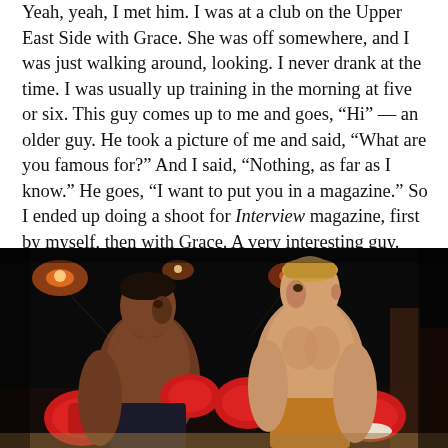Yeah, yeah, I met him. I was at a club on the Upper East Side with Grace. She was off somewhere, and I was just walking around, looking. I never drank at the time. I was usually up training in the morning at five or six. This guy comes up to me and goes, “Hi” — an older guy. He took a picture of me and said, “What are you famous for?” And I said, “Nothing, as far as I know.” He goes, “I want to put you in a magazine.” So I ended up doing a shoot for Interview magazine, first by myself, then with Grace. A very interesting guy.
[Figure (photo): A movie still showing two muscular male boxers in a boxing ring scene, both wearing red boxing gloves. The man on the left has dark hair and is facing right. The man on the right is blond and shirtless, looking to his left. The background is dark with arena lights visible.]